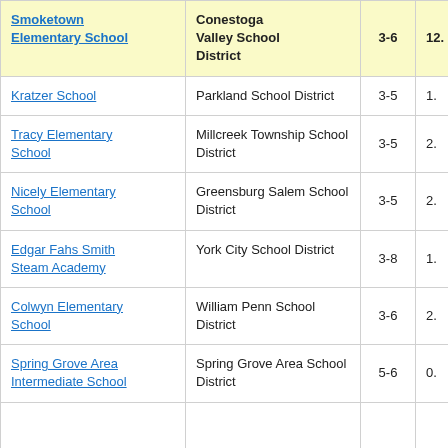| School | District | Grades |  |
| --- | --- | --- | --- |
| Smoketown Elementary School | Conestoga Valley School District | 3-6 | 12. |
| Kratzer School | Parkland School District | 3-5 | 1. |
| Tracy Elementary School | Millcreek Township School District | 3-5 | 2. |
| Nicely Elementary School | Greensburg Salem School District | 3-5 | 2. |
| Edgar Fahs Smith Steam Academy | York City School District | 3-8 | 1. |
| Colwyn Elementary School | William Penn School District | 3-6 | 2. |
| Spring Grove Area Intermediate School | Spring Grove Area School District | 5-6 | 0. |
|  |  |  |  |